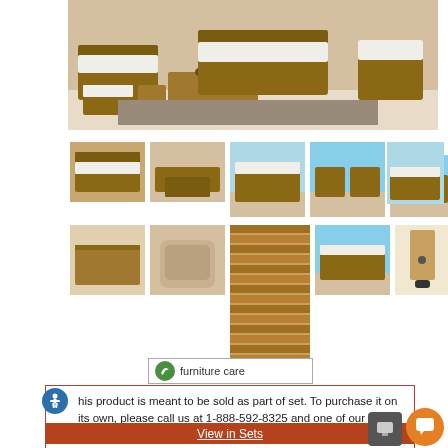[Figure (photo): Hero image of teak outdoor furniture set on patio - sofas, coffee table, ottomans]
[Figure (photo): Thumbnail 1: outdoor furniture set wide view]
[Figure (photo): Thumbnail 2: outdoor furniture set top view]
[Figure (photo): Thumbnail 3: sofa with white cushions]
[Figure (photo): Thumbnail 4: two chairs by beach]
[Figure (photo): Thumbnail 5: chairs with ocean view]
[Figure (photo): Thumbnail 6: chair and ottoman close-up]
[Figure (photo): Thumbnail 7: coffee table close-up]
[Figure (photo): Thumbnail 8: side table]
[Figure (photo): Thumbnail 9: wicker chair]
[Figure (photo): Thumbnail 10: teak slats close-up - tall]
[Figure (photo): Thumbnail 11: beach scene]
[Figure (photo): Thumbnail 12: teak leg detail with leveler]
[Figure (infographic): Furniture care button with green leaf icon]
his product is meant to be sold as part of set. To purchase it on its own, please call us at 1-888-592-8325 and one of our sales associates with be happy to assist you.
View in Sets